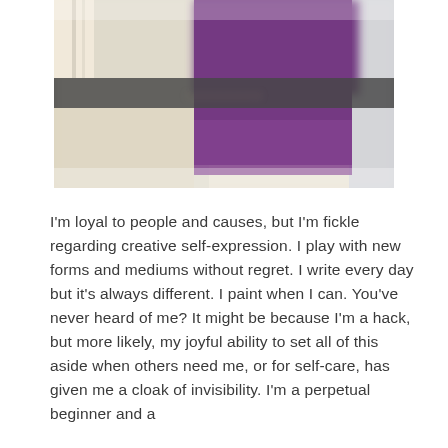[Figure (photo): A blurred photograph showing geometric color blocks — a large purple/magenta square in the upper center-right area, flanked by beige/cream areas on the left and right, with a dark horizontal band across the middle. The overall image is out of focus.]
I'm loyal to people and causes, but I'm fickle regarding creative self-expression. I play with new forms and mediums without regret. I write every day but it's always different. I paint when I can. You've never heard of me? It might be because I'm a hack, but more likely, my joyful ability to set all of this aside when others need me, or for self-care, has given me a cloak of invisibility. I'm a perpetual beginner and a